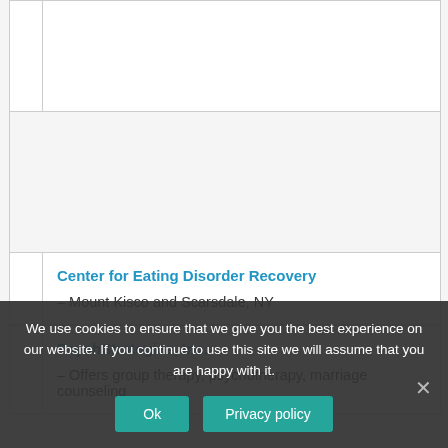Center for Eating Disorder Recovery – Mount Kisco and Scarsdale, NY
PsychStrategies, Inc. – Offers group therapy, psychotherapy, marriage counseling
We use cookies to ensure that we give you the best experience on our website. If you continue to use this site we will assume that you are happy with it.